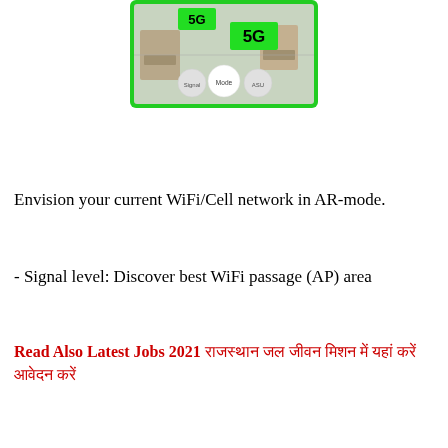[Figure (screenshot): Screenshot of a smartphone AR camera view showing two bright green '5G' labels overlaid on a room interior scene with chairs. Three circular buttons at bottom labeled 'Signal', 'Mode', and 'ASU'. The phone screen has a green border.]
Envision your current WiFi/Cell network in AR-mode.
- Signal level: Discover best WiFi passage (AP) area
Read Also Latest Jobs 2021 राजस्थान जल जीवन मिशन में यहां करें  आवेदन करें